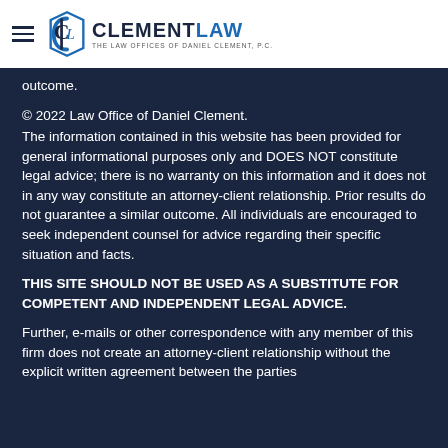[Figure (logo): Clement Law – The Law Offices of Daniel Clement, P.C. logo with hamburger menu icon]
outcome.
© 2022 Law Office of Daniel Clement.
The information contained in this website has been provided for general informational purposes only and DOES NOT constitute legal advice; there is no warranty on this information and it does not in any way constitute an attorney-client relationship. Prior results do not guarantee a similar outcome. All individuals are encouraged to seek independent counsel for advice regarding their specific situation and facts.
THIS SITE SHOULD NOT BE USED AS A SUBSTITUTE FOR COMPETENT AND INDEPENDENT LEGAL ADVICE.
Further, e-mails or other correspondence with any member of this firm does not create an attorney-client relationship without the explicit written agreement between the parties